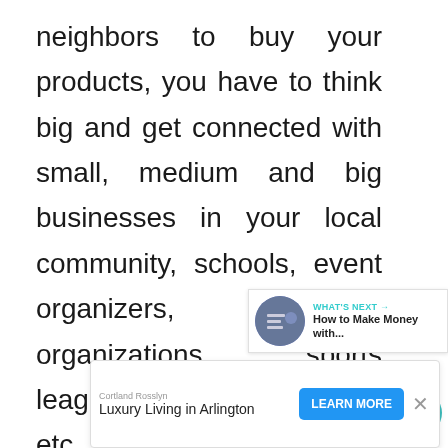neighbors to buy your products, you have to think big and get connected with small, medium and big businesses in your local community, schools, event organizers, civic organizations, sports leagues, non-profit groups etc. Such organizations may buy promotional products from you, and use them to promote their business.
[Figure (screenshot): UI overlay with heart/favorite button (teal circle with heart icon) and share button icons on the right side of the page]
[Figure (screenshot): What's Next recommendation box with thumbnail image and text 'How to Make Money with...']
[Figure (screenshot): Advertisement banner: Cortland Rosslyn - Luxury Living in Arlington with LEARN MORE button and close X button]